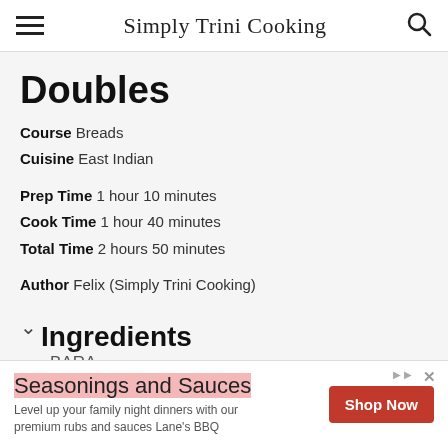Simply Trini Cooking
Doubles
Course Breads
Cuisine East Indian
Prep Time 1 hour 10 minutes
Cook Time 1 hour 40 minutes
Total Time 2 hours 50 minutes
Author Felix (Simply Trini Cooking)
Ingredients
Seasonings and Sauces
Level up your family night dinners with our premium rubs and sauces Lane's BBQ